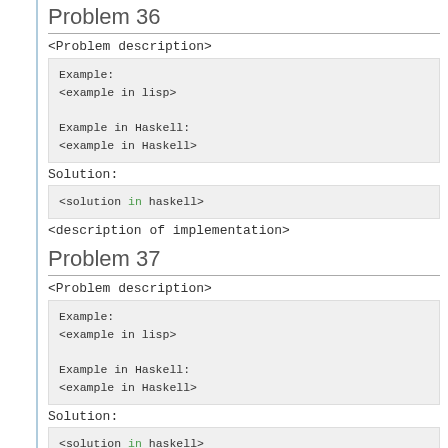Problem 36
<Problem description>
Example:
<example in lisp>

Example in Haskell:
<example in Haskell>
Solution:
<solution in haskell>
<description of implementation>
Problem 37
<Problem description>
Example:
<example in lisp>

Example in Haskell:
<example in Haskell>
Solution:
<solution in haskell>